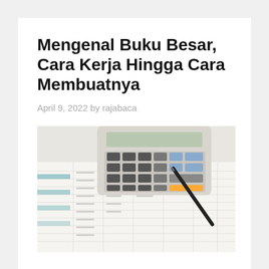Mengenal Buku Besar, Cara Kerja Hingga Cara Membuatnya
April 9, 2022 by rajabaca
[Figure (photo): A calculator resting on printed financial ledger/spreadsheet papers with a pen, showing accounting documents with columns of numbers and teal/blue highlighted rows.]